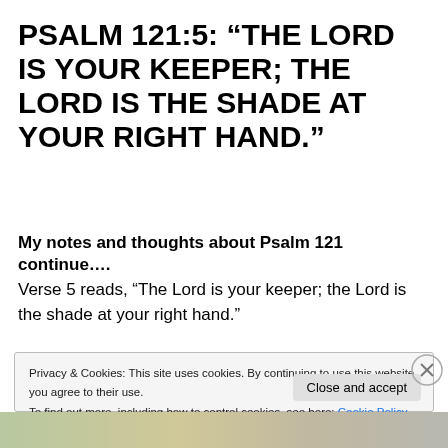PSALM 121:5: “THE LORD IS YOUR KEEPER; THE LORD IS THE SHADE AT YOUR RIGHT HAND.”
My notes and thoughts about Psalm 121 continue….
Verse 5 reads, “The Lord is your keeper; the Lord is the shade at your right hand.”
Privacy & Cookies: This site uses cookies. By continuing to use this website, you agree to their use.
To find out more, including how to control cookies, see here: Cookie Policy